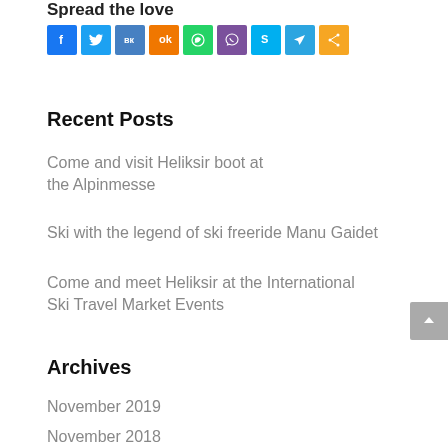Spread the love
[Figure (other): Social sharing buttons: Facebook, Twitter, VK, OK, WhatsApp, Viber, Skype, Telegram, Share]
Recent Posts
Come and visit Heliksir boot at the Alpinmesse
Ski with the legend of ski freeride Manu Gaidet
Come and meet Heliksir at the International Ski Travel Market Events
Archives
November 2019
November 2018